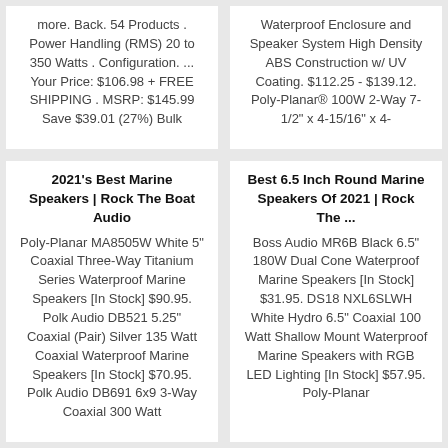more. Back. 54 Products . Power Handling (RMS) 20 to 350 Watts . Configuration. ... Your Price: $106.98 + FREE SHIPPING . MSRP: $145.99 Save $39.01 (27%) Bulk
Waterproof Enclosure and Speaker System High Density ABS Construction w/ UV Coating. $112.25 - $139.12. Poly-Planar® 100W 2-Way 7-1/2" x 4-15/16" x 4-
2021's Best Marine Speakers | Rock The Boat Audio
Poly-Planar MA8505W White 5" Coaxial Three-Way Titanium Series Waterproof Marine Speakers [In Stock] $90.95. Polk Audio DB521 5.25" Coaxial (Pair) Silver 135 Watt Coaxial Waterproof Marine Speakers [In Stock] $70.95. Polk Audio DB691 6x9 3-Way Coaxial 300 Watt
Best 6.5 Inch Round Marine Speakers Of 2021 | Rock The ...
Boss Audio MR6B Black 6.5" 180W Dual Cone Waterproof Marine Speakers [In Stock] $31.95. DS18 NXL6SLWH White Hydro 6.5" Coaxial 100 Watt Shallow Mount Waterproof Marine Speakers with RGB LED Lighting [In Stock] $57.95. Poly-Planar